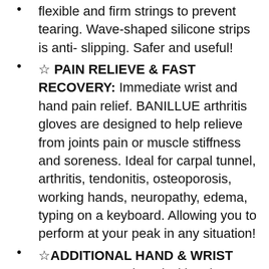flexible and firm strings to prevent tearing. Wave-shaped silicone strips is anti- slipping. Safer and useful!
☆ PAIN RELIEVE & FAST RECOVERY: Immediate wrist and hand pain relief. BANILLUE arthritis gloves are designed to help relieve from joints pain or muscle stiffness and soreness. Ideal for carpal tunnel, arthritis, tendonitis, osteoporosis, working hands, neuropathy, edema, typing on a keyboard. Allowing you to perform at your peak in any situation!
☆ADDITIONAL HAND & WRIST SUPPORT: Equipped with wrist strap, you can obtain additional